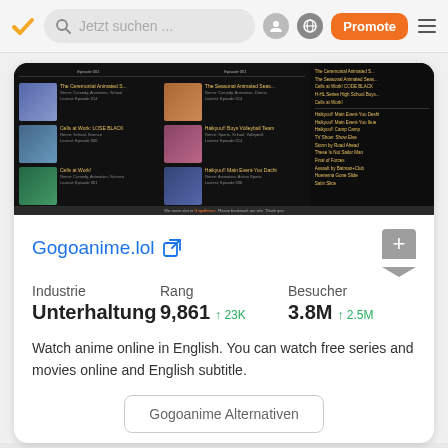Jetzt suchen ... | Promote
[Figure (screenshot): Screenshot of Gogoanime.lol website showing anime listings in a dark-themed layout with sidebar]
Gogoanime.lol
| Industrie | Rang | Besucher |
| --- | --- | --- |
| Unterhaltung | 9,861 ↑ 23K | 3.8M ↑ 2.5M |
Watch anime online in English. You can watch free series and movies online and English subtitle.
Gogoanime Alternativen